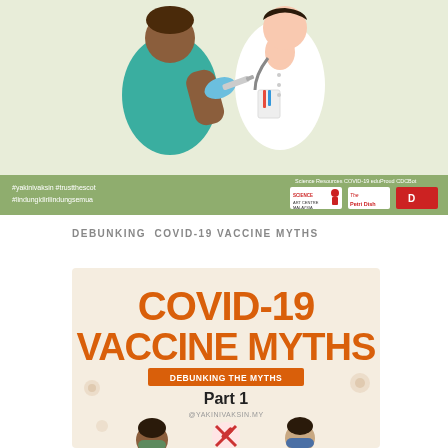[Figure (illustration): Illustration of a healthcare worker in teal scrubs receiving a vaccination from a doctor in white coat with blue gloves, against a light green background. Below is a green banner with hashtags #yakinivaksin #trustthescot #lindungidirilindungsemua and logos for Science Art Centre Malaysia, The Petri Dish, and another organization.]
DEBUNKING COVID-19 VACCINE MYTHS
[Figure (infographic): Infographic with beige/cream background showing large orange bold text 'COVID-19 VACCINE MYTHS', below it an orange rectangle badge reading 'DEBUNKING THE MYTHS', then 'Part 1' in bold black text, '@YAKINIVAKSIN.MY' in small grey text, and partially visible cartoon figures of people at the bottom.]